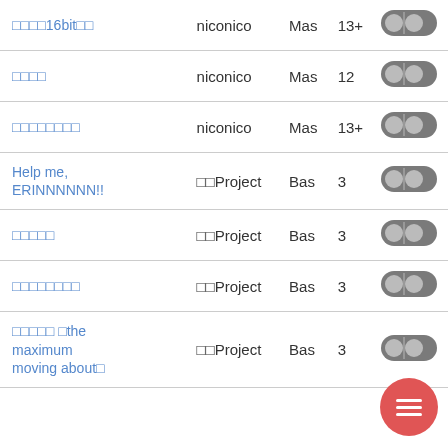| Title | Source | Diff | Level | Toggle |
| --- | --- | --- | --- | --- |
| □□□□16bit□□ | niconico | Mas | 13+ |  |
| □□□□ | niconico | Mas | 12 |  |
| □□□□□□□□ | niconico | Mas | 13+ |  |
| Help me, ERINNNNNN!! | □□Project | Bas | 3 |  |
| □□□□□ | □□Project | Bas | 3 |  |
| □□□□□□□□ | □□Project | Bas | 3 |  |
| □□□□□ □the maximum moving about□ | □□Project | Bas | 3 |  |